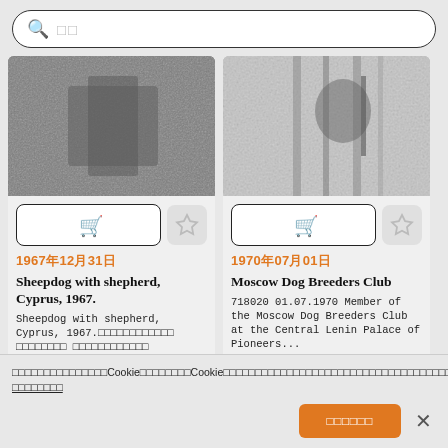[Figure (screenshot): Search bar with magnifying glass icon and placeholder text (two squares representing CJK characters)]
[Figure (photo): Black and white photo of a sheepdog with shepherd in Cyprus, 1967]
[Figure (photo): Black and white photo related to Moscow Dog Breeders Club, 1970]
1967年12月31日
Sheepdog with shepherd, Cyprus, 1967.
Sheepdog with shepherd, Cyprus, 1967.（CJK text follows）
1970年07月01日
Moscow Dog Breeders Club
718020 01.07.1970 Member of the Moscow Dog Breeders Club at the Central Lenin Palace of Pioneers...
Cookie consent notice (CJK text) with underlined link (CJK text)
同意所有Cookie（Accept all cookies button）